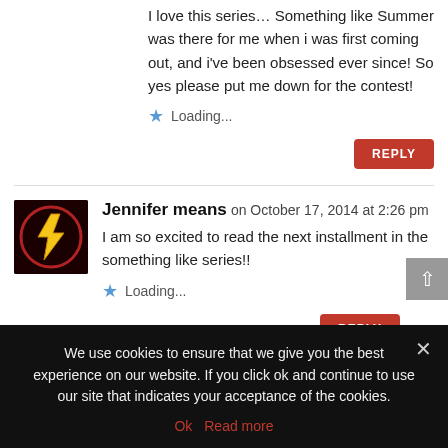I love this series… Something like Summer was there for me when i was first coming out, and i've been obsessed ever since! So yes please put me down for the contest!
Loading...
REPLY
Jennifer means on October 17, 2014 at 2:26 pm
[Figure (illustration): Avatar image with Flash superhero logo on dark red background]
I am so excited to read the next installment in the something like series!!
Loading...
REPLY
We use cookies to ensure that we give you the best experience on our website. If you click ok and continue to use our site that indicates your acceptance of the cookies.
Ok   Read more